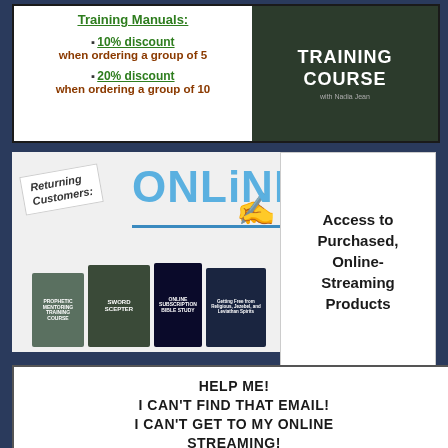[Figure (infographic): Training Manuals promotional box showing 10% discount when ordering a group of 5 and 20% discount when ordering a group of 10, with a dark book cover image on the right labeled TRAINING COURSE]
[Figure (infographic): Online returning customers section with ONLINE text in blue, a hand writing, book covers below including Sword Scepter and other titles, and a right side box indicating Access to Purchased, Online-Streaming Products]
HELP ME! I CAN'T FIND THAT EMAIL! I CAN'T GET TO MY ONLINE STREAMING!